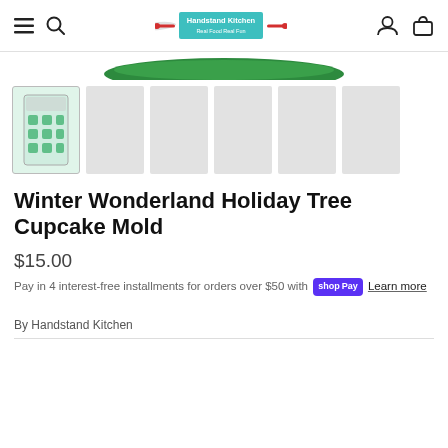Handstand Kitchen — navigation bar with menu, search, logo, account, cart
[Figure (photo): Green cupcake mold tray partially visible at top of page]
[Figure (photo): Thumbnail strip: first thumbnail shows green Winter Wonderland Holiday Tree Cupcake Mold packaging, followed by 5 empty grey placeholder thumbnails]
Winter Wonderland Holiday Tree Cupcake Mold
$15.00
Pay in 4 interest-free installments for orders over $50 with shop Pay Learn more
By Handstand Kitchen